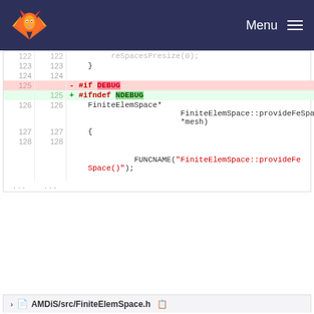GitLab navbar with logo and Menu
[Figure (screenshot): GitLab diff view showing code changes in a .cpp file, lines 122-128 with deletion of #if DEBUG and addition of #ifndef NDEBUG]
AMDiS/src/FiniteElemSpace.h
[Figure (screenshot): GitLab diff view showing code changes in FiniteElemSpace.h, lines 53-56, showing static void destroyFeSpaces() and deletion of #if DEBUG]